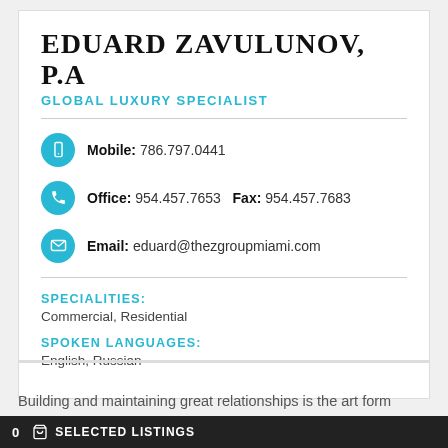EDUARD ZAVULUNOV, P.A
GLOBAL LUXURY SPECIALIST
Mobile: 786.797.0441
Office: 954.457.7653  Fax: 954.457.7683
Email: eduard@thezgroupmiami.com
SPECIALITIES:
Commercial, Residential
SPOKEN LANGUAGES:
English, Russian
Building and maintaining great relationships is the art form
0  SELECTED LISTINGS